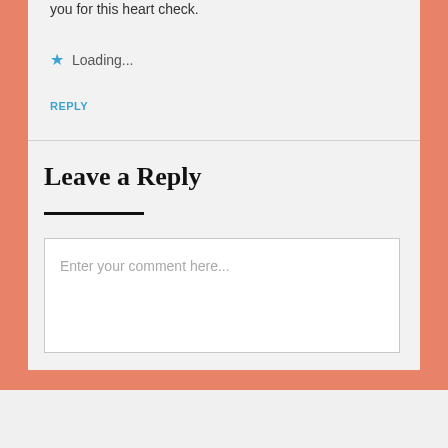you for this heart check.
Loading...
REPLY
Leave a Reply
Enter your comment here...